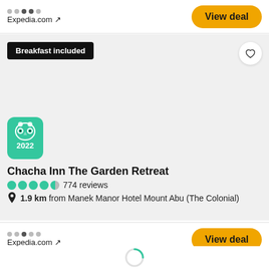Expedia.com ↗
View deal
Breakfast included
[Figure (logo): TripAdvisor Travelers' Choice 2022 badge - green rounded square with owl face icon and text 2022]
Chacha Inn The Garden Retreat
774 reviews
1.9 km from Manek Manor Hotel Mount Abu (The Colonial)
Expedia.com ↗
View deal